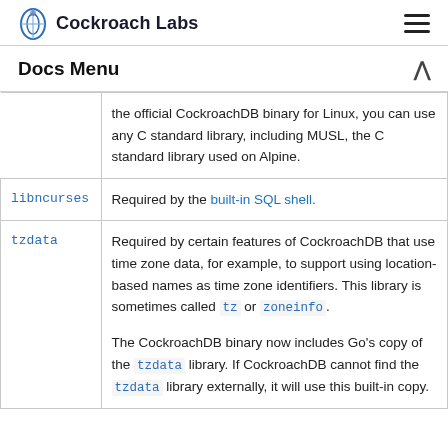Cockroach Labs
Docs Menu
|  |  |
| --- | --- |
|  | the official CockroachDB binary for Linux, you can use any C standard library, including MUSL, the C standard library used on Alpine. |
| libncurses | Required by the built-in SQL shell. |
| tzdata | Required by certain features of CockroachDB that use time zone data, for example, to support using location-based names as time zone identifiers. This library is sometimes called tz or zoneinfo.

The CockroachDB binary now includes Go's copy of the tzdata library. If CockroachDB cannot find the tzdata library externally, it will use this built-in copy. |